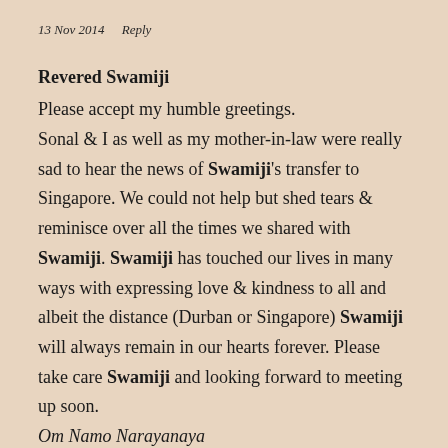13 Nov 2014   Reply
Revered Swamiji
Please accept my humble greetings. Sonal & I as well as my mother-in-law were really sad to hear the news of Swamiji's transfer to Singapore. We could not help but shed tears & reminisce over all the times we shared with Swamiji. Swamiji has touched our lives in many ways with expressing love & kindness to all and albeit the distance (Durban or Singapore) Swamiji will always remain in our hearts forever. Please take care Swamiji and looking forward to meeting up soon.
Om Namo Narayanaya
Regards from